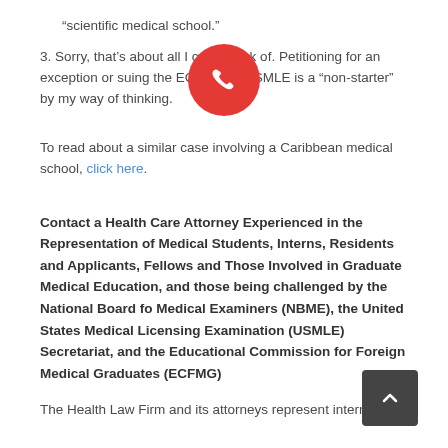“scientific medical school.”
3. Sorry, that’s about all I could think of. Petitioning for an exception or suing the ECFMG or USMLE is a “non-starter” by my way of thinking.
To read about a similar case involving a Caribbean medical school, click here.
Contact a Health Care Attorney Experienced in the Representation of Medical Students, Interns, Residents and Applicants, Fellows and Those Involved in Graduate Medical Education, and those being challenged by the National Board fo Medical Examiners (NBME), the United States Medical Licensing Examination (USMLE) Secretariat, and the Educational Commission for Foreign Medical Graduates (ECFMG)
The Health Law Firm and its attorneys represent interns,